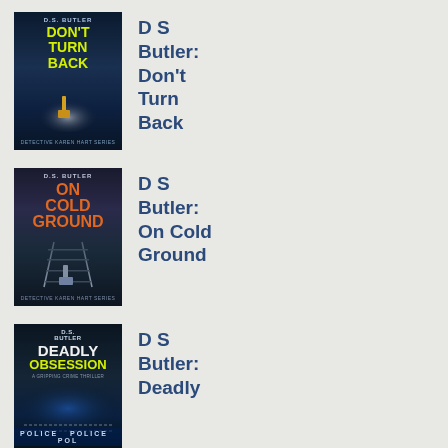[Figure (illustration): Book cover: D.S. Butler Don't Turn Back - Detective Karen Hart Series. Dark night scene with yellow figure walking away on road, yellow title text.]
D S Butler: Don't Turn Back
[Figure (illustration): Book cover: D.S. Butler On Cold Ground - Detective Karen Hart Series. Dark scene with figure walking toward railway tracks, orange title text.]
D S Butler: On Cold Ground
[Figure (illustration): Book cover: D.S. Butler Deadly Obsession - A Gripping Crime Thriller. Dark blue scene with police tape, white and yellow title text.]
D S Butler: Deadly